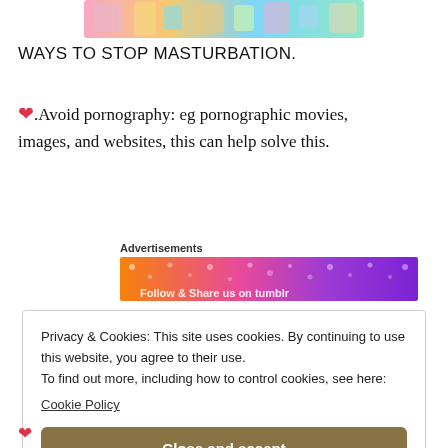[Figure (illustration): Colorful cartoon-style banner image at the top of the page, cropped at top]
WAYS TO STOP MASTURBATION.
❤️.Avoid pornography: eg pornographic movies, images, and websites, this can help solve this.
Advertisements
[Figure (illustration): Colorful orange-to-purple gradient advertisement banner with decorative white icons and text partially visible]
Privacy & Cookies: This site uses cookies. By continuing to use this website, you agree to their use.
To find out more, including how to control cookies, see here:
Cookie Policy
[Close and accept button]